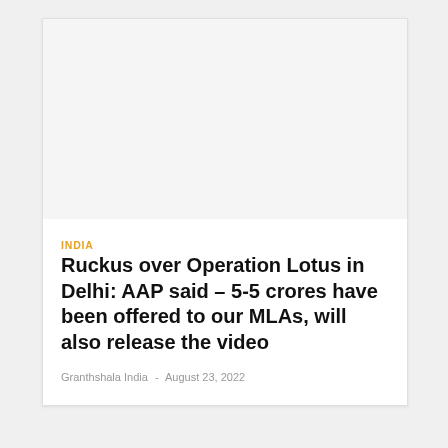INDIA
Ruckus over Operation Lotus in Delhi: AAP said – 5-5 crores have been offered to our MLAs, will also release the video
Granthshala India - August 23, 2022